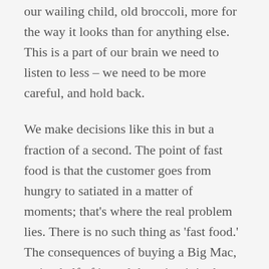our wailing child, old broccoli, more for the way it looks than for anything else. This is a part of our brain we need to listen to less – we need to be more careful, and hold back.
We make decisions like this in but a fraction of a second. The point of fast food is that the customer goes from hungry to satiated in a matter of moments; that's where the real problem lies. There is no such thing as 'fast food.' The consequences of buying a Big Mac, eating half of it, and throwing it in the bin may not feel like much as you're doing it but you're not only throwing away a Big Mac – you're throwing away the water, grain, and